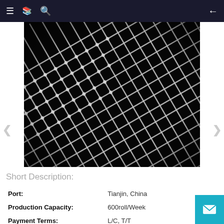≡ 📋 🔍 ←
[Figure (photo): Close-up black and white photo of woven wire mesh (iron wire grid), shot at an angle on a dark background, showing the interlocked pattern of metal wires.]
Short Description:
| Port: | Tianjin, China |
| Production Capacity: | 600roll/Week |
| Payment Terms: | L/C, T/T |
| Material: | Iron Wire |